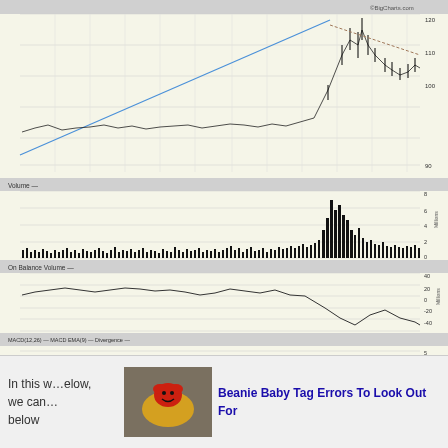[Figure (continuous-plot): Stock price candlestick chart showing price from May to Apr with a trendline, y-axis 90-120]
[Figure (continuous-plot): Volume bar chart (histogram) from BigCharts.com, showing trading volume in millions, y-axis 0-8]
[Figure (continuous-plot): On Balance Volume line chart, y-axis -40 to 40 millions]
[Figure (continuous-plot): MACD (12,26) blue line, MACD EMA(9) red/orange line, Divergence filled area chart, y-axis -15 to 5]
In this w…elow, we can… below
Beanie Baby Tag Errors To Look Out For